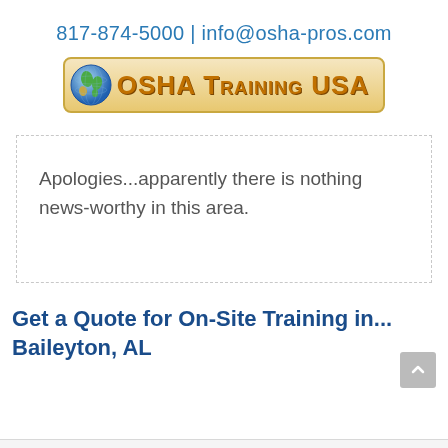817-874-5000 | info@osha-pros.com
[Figure (logo): OSHA Training USA globe logo with orange text on golden gradient background]
Apologies...apparently there is nothing news-worthy in this area.
Get a Quote for On-Site Training in... Baileyton, AL